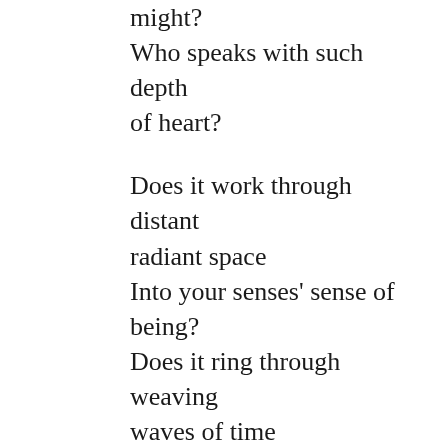might?
Who speaks with such depth of heart?
Does it work through distant radiant space
Into your senses' sense of being?
Does it ring through weaving waves of time
Into your life's evolving stream?
It's you yourself who,
In feeling space, in experiencing time,
Create the Word, feeling foreign
In the soulless void of space
Because and by the force of